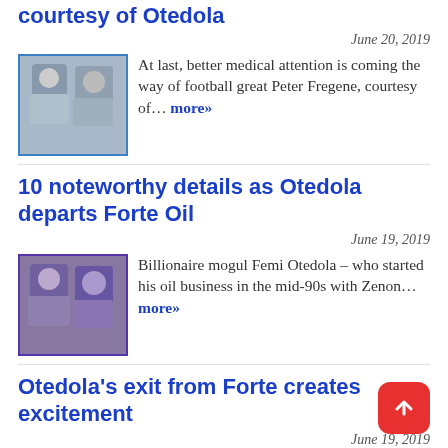courtesy of Otedola
June 20, 2019
[Figure (photo): Thumbnail photo of Peter Fregene with blue border]
At last, better medical attention is coming the way of football great Peter Fregene, courtesy of… more»
10 noteworthy details as Otedola departs Forte Oil
June 19, 2019
[Figure (photo): Thumbnail photo of Femi Otedola with purple border]
Billionaire mogul Femi Otedola – who started his oil business in the mid-90s with Zenon… more»
Otedola's exit from Forte creates excitement
June 19, 2019